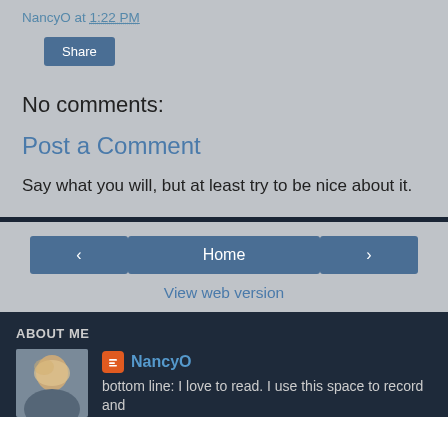NancyO at 1:22 PM
Share
No comments:
Post a Comment
Say what you will, but at least try to be nice about it.
Home
View web version
ABOUT ME
NancyO
bottom line: I love to read. I use this space to record and